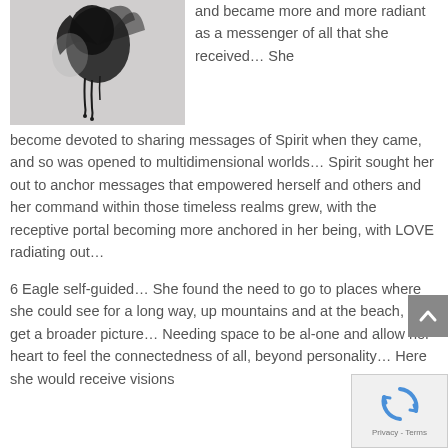[Figure (illustration): Black and white illustration of an abstract bird or spirit figure with ink drips on a light gray background]
and became more and more radiant as a messenger of all that she received… She become devoted to sharing messages of Spirit when they came, and so was opened to multidimensional worlds… Spirit sought her out to anchor messages that empowered herself and others and her command within those timeless realms grew, with the receptive portal becoming more anchored in her being, with LOVE radiating out…
6 Eagle self-guided… She found the need to go to places where she could see for a long way, up mountains and at the beach, to get a broader picture… Needing space to be al-one and allow her heart to feel the connectedness of all, beyond personality… Here she would receive visions